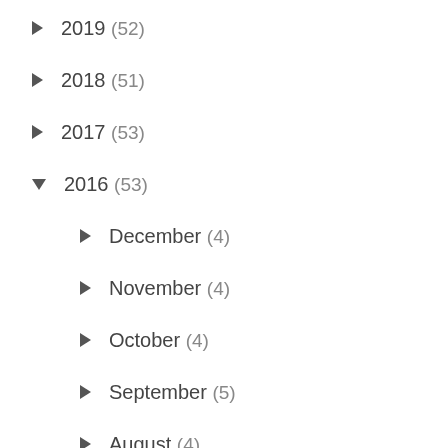► 2019 (52)
► 2018 (51)
► 2017 (53)
▼ 2016 (53)
► December (4)
► November (4)
► October (4)
► September (5)
► August (4)
► July (5)
► June (4)
► May (4)